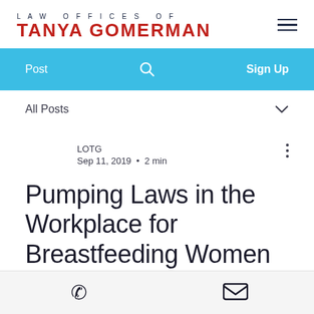LAW OFFICES OF TANYA GOMERMAN
Post   🔍   Sign Up
All Posts
LOTG
Sep 11, 2019 • 2 min
Pumping Laws in the Workplace for Breastfeeding Women